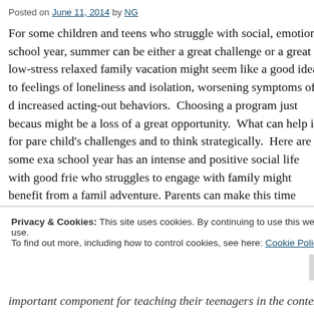Posted on June 11, 2014 by NG
For some children and teens who struggle with social, emotional and behavioral challenges during the school year, summer can be either a great challenge or a great opportunity. While a low-stress relaxed family vacation might seem like a good idea, it can sometimes lead to feelings of loneliness and isolation, worsening symptoms of depression or anxiety, and increased acting-out behaviors. Choosing a program just because it is convenient might be a loss of a great opportunity. What can help is for parents to think about their child's challenges and to think strategically. Here are some examples: A child who during the school year has an intense and positive social life with good friends, but who struggles to engage with family might benefit from a family trip and adventure. Parents can make this time most productive if they are intentional about the vacation: to get closer to each other, to work on trust, to enhance communication and family memories. There are some great readings on fine tuning...
Privacy & Cookies: This site uses cookies. By continuing to use this website, you agree to their use.
To find out more, including how to control cookies, see here: Cookie Policy
important component for teaching their teenagers in the context...